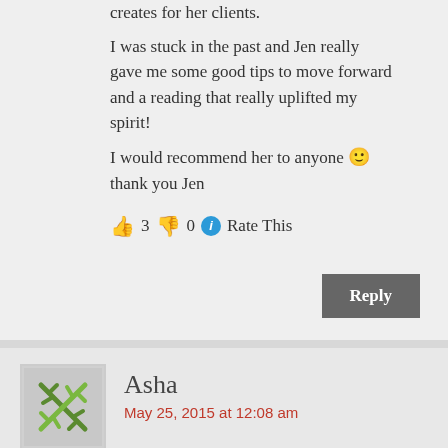creates for her clients.
I was stuck in the past and Jen really gave me some good tips to move forward and a reading that really uplifted my spirit!
I would recommend her to anyone 🙂 thank you Jen
👍 3 👎 0 ℹ Rate This
Reply
Asha
May 25, 2015 at 12:08 am
I first found Jen early in into this Journey of mine back in Spring of 2014. And My one simple